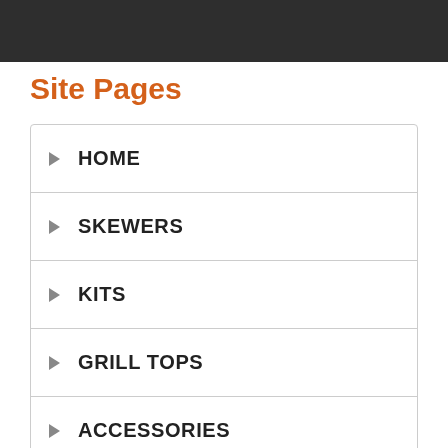Site Pages
HOME
SKEWERS
KITS
GRILL TOPS
ACCESSORIES
BLOG